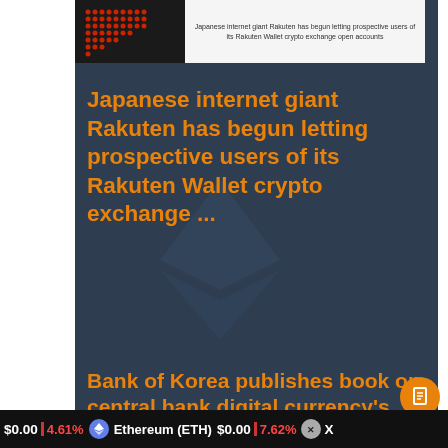[Figure (screenshot): Thumbnail of Rakuten article with red dot pattern logo on left and caption text on right reading: Japanese internet giant Rakuten has begun letting prospective users of its Rakuten Wallet crypto exchange open accounts]
Japanese internet giant Rakuten has begun letting prospective users of its Rakuten Wallet crypto exchange ...
Bank of Korea publishes book on central bank digital currency's
$0.00  4.61%  Ethereum (ETH) $0.00  7.62%  X